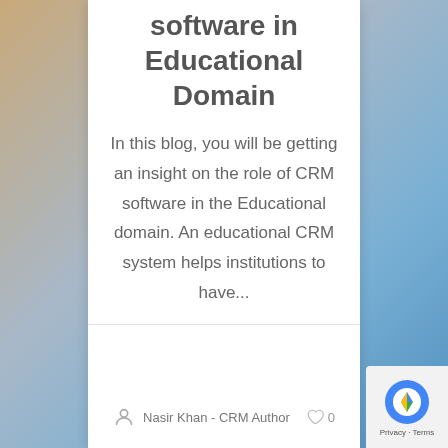software in Educational Domain
In this blog, you will be getting an insight on the role of CRM software in the Educational domain. An educational CRM system helps institutions to have...
Nasir Khan - CRM Author   ♡ 0